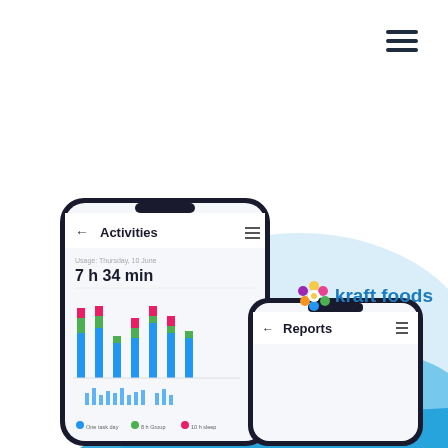[Figure (illustration): Hamburger menu icon (three horizontal dark lines) in top-right corner]
[Figure (screenshot): Mobile app screenshot showing Activities screen with bar chart displaying 7h 34min activity data, and a second phone showing Reports screen, placed over blue wave background with Kraft Foods logo]
[Figure (logo): Kraft Foods logo with colorful flower icon and blue text reading 'kraft foods']